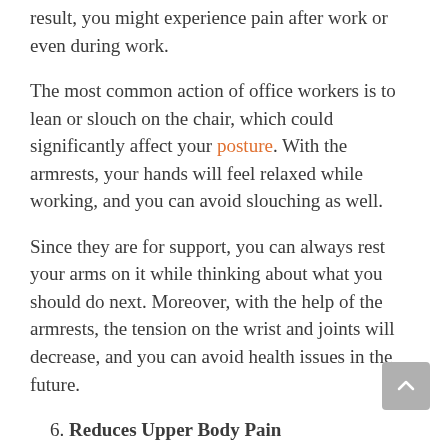result, you might experience pain after work or even during work.
The most common action of office workers is to lean or slouch on the chair, which could significantly affect your posture. With the armrests, your hands will feel relaxed while working, and you can avoid slouching as well.
Since they are for support, you can always rest your arms on it while thinking about what you should do next. Moreover, with the help of the armrests, the tension on the wrist and joints will decrease, and you can avoid health issues in the future.
6. Reduces Upper Body Pain